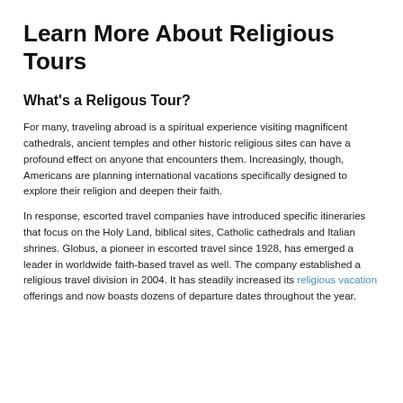Learn More About Religious Tours
What's a Religous Tour?
For many, traveling abroad is a spiritual experience visiting magnificent cathedrals, ancient temples and other historic religious sites can have a profound effect on anyone that encounters them. Increasingly, though, Americans are planning international vacations specifically designed to explore their religion and deepen their faith.
In response, escorted travel companies have introduced specific itineraries that focus on the Holy Land, biblical sites, Catholic cathedrals and Italian shrines. Globus, a pioneer in escorted travel since 1928, has emerged a leader in worldwide faith-based travel as well. The company established a religious travel division in 2004. It has steadily increased its religious vacation offerings and now boasts dozens of departure dates throughout the year.